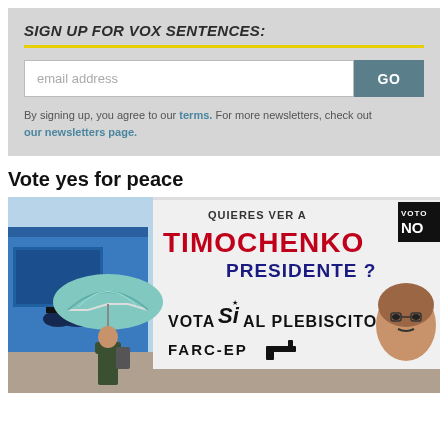SIGN UP FOR VOX SENTENCES:
email address
By signing up, you agree to our terms. For more newsletters, check out our newsletters page.
Vote yes for peace
[Figure (photo): Political campaign billboard in Colombia reading 'QUIERES VER A TIMOCHENKO PRESIDENTE? VOTA SI AL PLEBISCITO FARC-EP' with VOTO NO logo, person with umbrella in foreground]